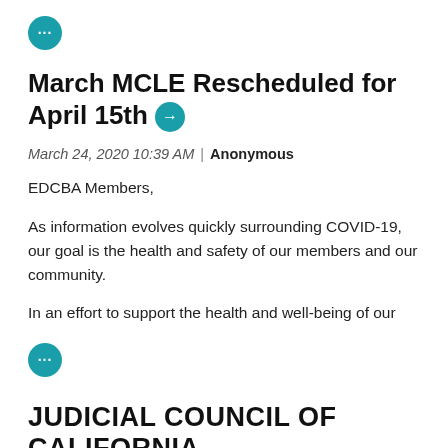[Figure (other): Teal circle icon with three dots (ellipsis) at top of page]
March MCLE Rescheduled for April 15th →
March 24, 2020 10:39 AM | Anonymous
EDCBA Members,
As information evolves quickly surrounding COVID-19, our goal is the health and safety of our members and our community.
In an effort to support the health and well-being of our
[Figure (other): Teal circle icon with three dots (ellipsis) in middle of page]
JUDICIAL COUNCIL OF CALIFORNIA